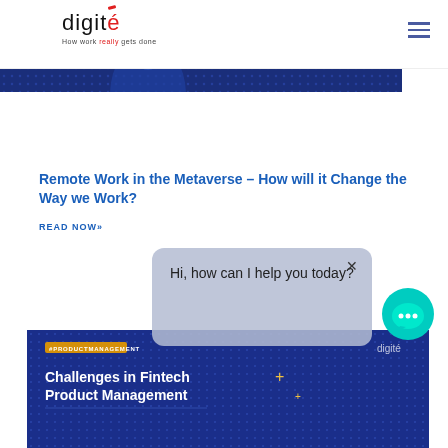[Figure (logo): Digité logo with tagline 'How work really gets done']
[Figure (illustration): Blue banner image showing partial figure of a person, dark blue background with dot pattern]
Remote Work in the Metaverse – How will it Change the Way we Work?
READ NOW»
[Figure (screenshot): Chat popup with text 'Hi, how can I help you today?' with a close X button]
[Figure (illustration): Dark blue banner for article about Challenges in Fintech Product Management with #PRODUCTMANAGEMENT tag]